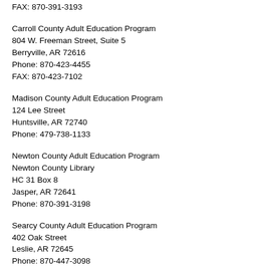FAX: 870-391-3193
Carroll County Adult Education Program
804 W. Freeman Street, Suite 5
Berryville, AR 72616
Phone: 870-423-4455
FAX: 870-423-7102
Madison County Adult Education Program
124 Lee Street
Huntsville, AR 72740
Phone: 479-738-1133
Newton County Adult Education Program
Newton County Library
HC 31 Box 8
Jasper, AR 72641
Phone: 870-391-3198
Searcy County Adult Education Program
402 Oak Street
Leslie, AR 72645
Phone: 870-447-3098